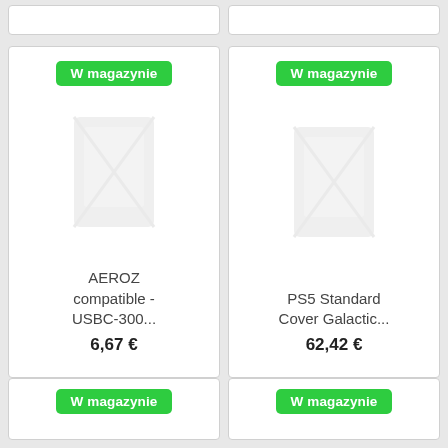[Figure (screenshot): Top partial product cards strip in gray background]
W magazynie
[Figure (photo): Product image placeholder for AEROZ compatible - USBC-300...]
AEROZ compatible - USBC-300...
6,67 €
W magazynie
[Figure (photo): Product image placeholder for PS5 Standard Cover Galactic...]
PS5 Standard Cover Galactic...
62,42 €
W magazynie
W magazynie